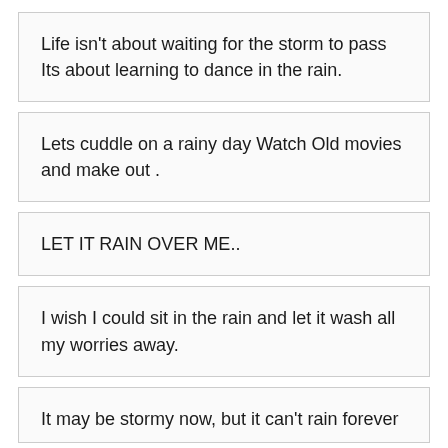Life isn't about waiting for the storm to pass Its about learning to dance in the rain.
Lets cuddle on a rainy day Watch Old movies and make out .
LET IT RAIN OVER ME..
I wish I could sit in the rain and let it wash all my worries away.
It may be stormy now, but it can't rain forever